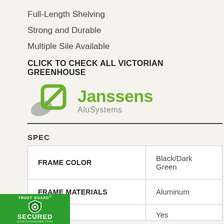Full-Length Shelving
Strong and Durable
Multiple Sile Available
CLICK TO CHECK ALL VICTORIAN GREENHOUSE
[Figure (logo): Janssens AluSystems logo with green leaf/panel icon and gray partial shape, company name in green bold text, AluSystems in gray below]
SPEC
|  |  |
| --- | --- |
| FRAME COLOR | Black/Dark Green |
| FRAME MATERIALS | Aluminum |
| R- | Yes |